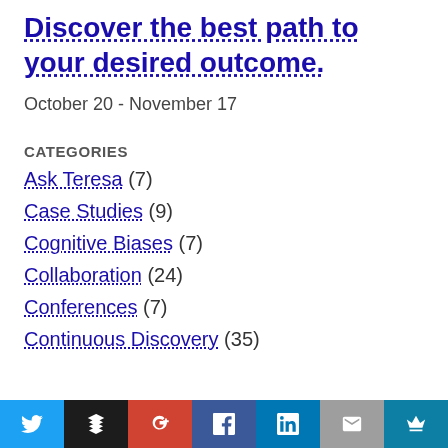Discover the best path to your desired outcome.
October 20 - November 17
CATEGORIES
Ask Teresa (7)
Case Studies (9)
Cognitive Biases (7)
Collaboration (24)
Conferences (7)
Continuous Discovery (35)
Twitter | Buffer | Google+ | Facebook | LinkedIn | Email | King